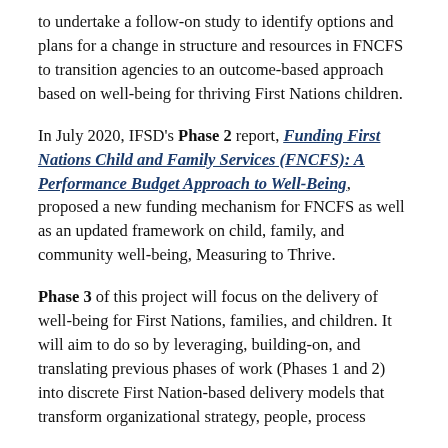to undertake a follow-on study to identify options and plans for a change in structure and resources in FNCFS to transition agencies to an outcome-based approach based on well-being for thriving First Nations children.
In July 2020, IFSD's Phase 2 report, Funding First Nations Child and Family Services (FNCFS): A Performance Budget Approach to Well-Being, proposed a new funding mechanism for FNCFS as well as an updated framework on child, family, and community well-being, Measuring to Thrive.
Phase 3 of this project will focus on the delivery of well-being for First Nations, families, and children. It will aim to do so by leveraging, building-on, and translating previous phases of work (Phases 1 and 2) into discrete First Nation-based delivery models that transform organizational strategy, people, process...